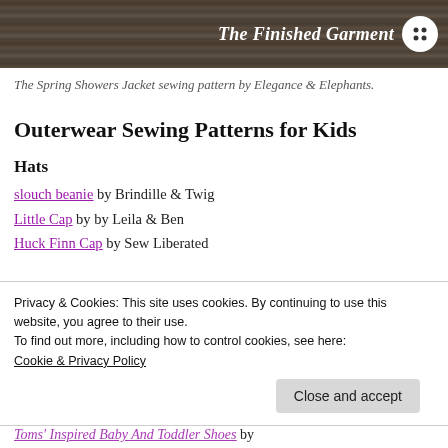[Figure (photo): Dark wooden background banner image with 'The Finished Garment' text and white button icon logo in top right]
The Spring Showers Jacket sewing pattern by Elegance & Elephants.
Outerwear Sewing Patterns for Kids
Hats
slouch beanie by Brindille & Twig
Little Cap by by Leila & Ben
Huck Finn Cap by Sew Liberated
Privacy & Cookies: This site uses cookies. By continuing to use this website, you agree to their use.
To find out more, including how to control cookies, see here:
Cookie & Privacy Policy
Close and accept
Toms' Inspired Baby And Toddler Shoes by